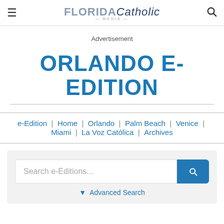FLORIDA Catholic MEDIA
Advertisement
ORLANDO E-EDITION
e-Edition | Home | Orlando | Palm Beach | Venice | Miami | La Voz Católica | Archives